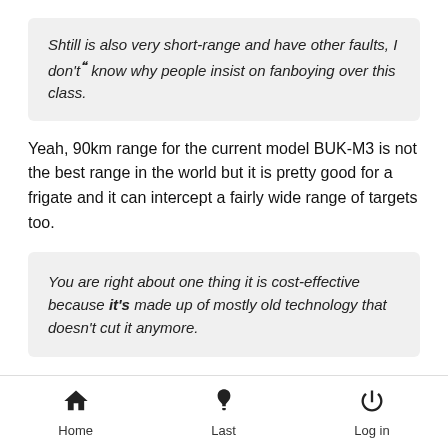Shtill is also very short-range and have other faults, I don't know why people insist on fanboying over this class.
Yeah, 90km range for the current model BUK-M3 is not the best range in the world but it is pretty good for a frigate and it can intercept a fairly wide range of targets too.
You are right about one thing it is cost-effective because it's made up of mostly old technology that doesn't cut it anymore.
I keep hearing western experts say this... which US small ca torpedo is better than a Russian 533mm one?
Home  Last  Log in